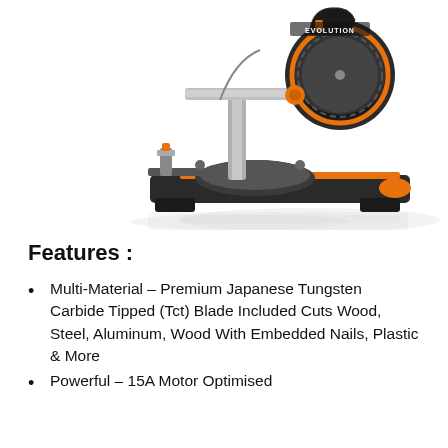[Figure (photo): Product photo of an Evolution brand miter saw with orange and black color scheme, featuring a sliding dual-bevel compound design with orange accent handles and clamps, photographed on a white background with a slight reflection beneath.]
Features :
Multi-Material – Premium Japanese Tungsten Carbide Tipped (Tct) Blade Included Cuts Wood, Steel, Aluminum, Wood With Embedded Nails, Plastic & More
Powerful – 15A Motor Optimised